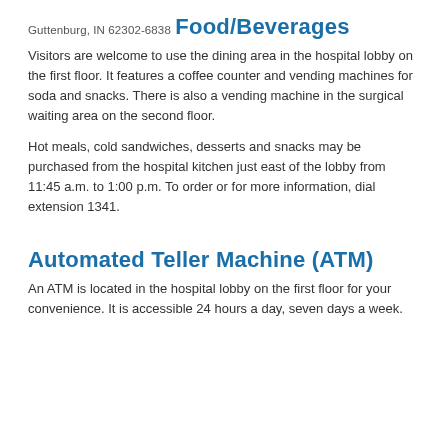Guttenburg, IN 62302-6838
Food/Beverages
Visitors are welcome to use the dining area in the hospital lobby on the first floor. It features a coffee counter and vending machines for soda and snacks. There is also a vending machine in the surgical waiting area on the second floor.
Hot meals, cold sandwiches, desserts and snacks may be purchased from the hospital kitchen just east of the lobby from 11:45 a.m. to 1:00 p.m. To order or for more information, dial extension 1341.
Automated Teller Machine (ATM)
An ATM is located in the hospital lobby on the first floor for your convenience. It is accessible 24 hours a day, seven days a week.